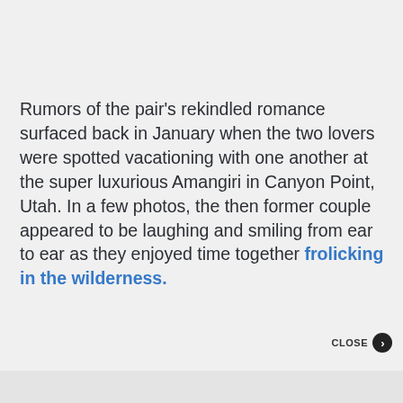Rumors of the pair's rekindled romance surfaced back in January when the two lovers were spotted vacationing with one another at the super luxurious Amangiri in Canyon Point, Utah. In a few photos, the then former couple appeared to be laughing and smiling from ear to ear as they enjoyed time together frolicking in the wilderness.